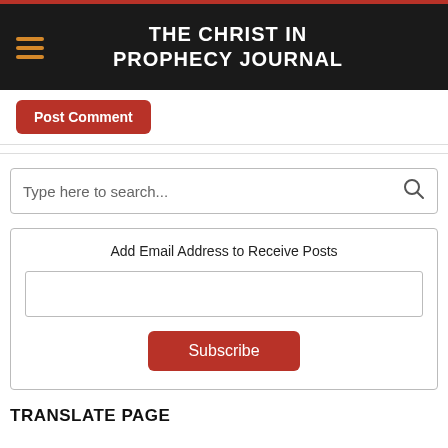THE CHRIST IN PROPHECY JOURNAL
Post Comment
Type here to search...
Add Email Address to Receive Posts
Subscribe
TRANSLATE PAGE